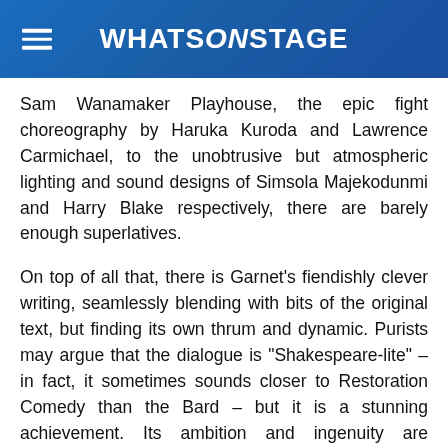WhatsOnStage
Sam Wanamaker Playhouse, the epic fight choreography by Haruka Kuroda and Lawrence Carmichael, to the unobtrusive but atmospheric lighting and sound designs of Simsola Majekodunmi and Harry Blake respectively, there are barely enough superlatives.
On top of all that, there is Garnet's fiendishly clever writing, seamlessly blending with bits of the original text, but finding its own thrum and dynamic. Purists may argue that the dialogue is "Shakespeare-lite" – in fact, it sometimes sounds closer to Restoration Comedy than the Bard – but it is a stunning achievement. Its ambition and ingenuity are matched by an exquisite, poetic, tear-soaked depth of feeling.